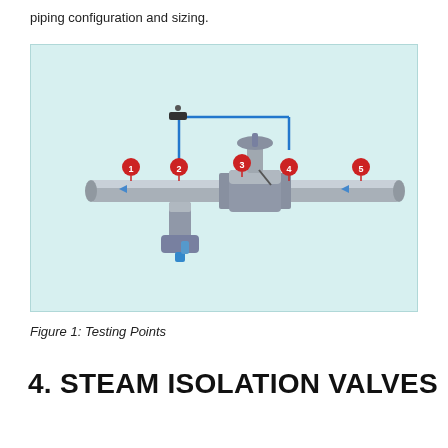piping configuration and sizing.
[Figure (engineering-diagram): Diagram of a steam system showing a horizontal pipe with a valve assembly in the center. Five numbered red test points are marked along the pipe. Blue tubing connects the valve actuator at top. A bypass/drain connection is shown at the bottom left. Flow arrows indicate steam direction.]
Figure 1: Testing Points
4. STEAM ISOLATION VALVES